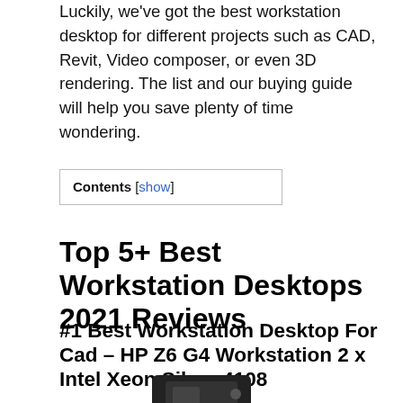Luckily, we've got the best workstation desktop for different projects such as CAD, Revit, Video composer, or even 3D rendering. The list and our buying guide will help you save plenty of time wondering.
Contents [show]
Top 5+ Best Workstation Desktops 2021 Reviews
#1 Best Workstation Desktop For Cad – HP Z6 G4 Workstation 2 x Intel Xeon Silver 4108
[Figure (photo): Partial image of a workstation desktop computer (HP Z6 G4), shown from the bottom, grayscale/black.]